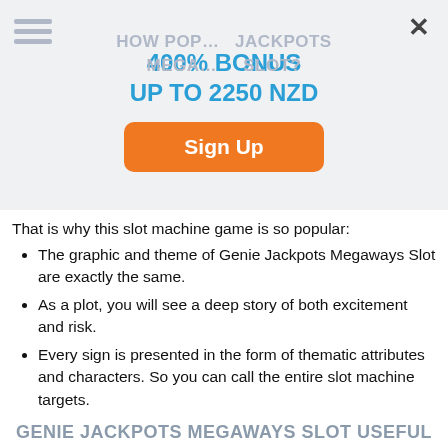[Figure (screenshot): Promotional overlay banner with hamburger menu icon, close X button, background faded page title text, '400% BONUS UP TO 2250 NZD' in blue, and orange 'Sign Up' button]
That is why this slot machine game is so popular:
The graphic and theme of Genie Jackpots Megaways Slot are exactly the same.
As a plot, you will see a deep story of both excitement and risk.
Every sign is presented in the form of thematic attributes and characters. So you can call the entire slot machine targets.
GENIE JACKPOTS MEGAWAYS SLOT USEFUL TRICKS AND TIPS
Here are the factors on which the winnings depend:
the size of the bet;
the percentage of return;